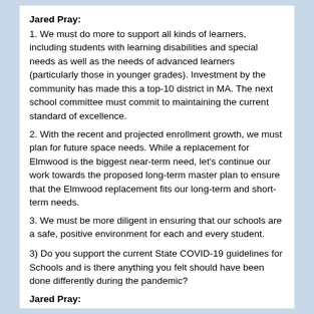Jared Pray:
1. We must do more to support all kinds of learners, including students with learning disabilities and special needs as well as the needs of advanced learners (particularly those in younger grades). Investment by the community has made this a top-10 district in MA. The next school committee must commit to maintaining the current standard of excellence.
2. With the recent and projected enrollment growth, we must plan for future space needs. While a replacement for Elmwood is the biggest near-term need, let's continue our work towards the proposed long-term master plan to ensure that the Elmwood replacement fits our long-term and short-term needs.
3. We must be more diligent in ensuring that our schools are a safe, positive environment for each and every student.
3) Do you support the current State COVID-19 guidelines for Schools and is there anything you felt should have been done differently during the pandemic?
Jared Pray:
In the early days of the pandemic, this town and the state took a cautious approach towards schools, which was both admirable and understandable. As we progressed into mid- and late-2020, and into 2021, we learned more about Covid and the limits of remote learning, but we failed to adjust. We knew our children were struggling greatly. We knew that virtual and hybrid learning was severely limiting for all students, and of little value for the youngest learners. We knew all children, and particularly our middle and high schoolers, were struggling badly from a social and emotional perspective. We even knew,